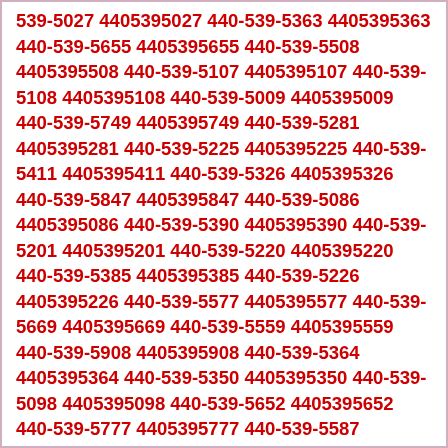539-5027 4405395027 440-539-5363 4405395363 440-539-5655 4405395655 440-539-5508 4405395508 440-539-5107 4405395107 440-539-5108 4405395108 440-539-5009 4405395009 440-539-5749 4405395749 440-539-5281 4405395281 440-539-5225 4405395225 440-539-5411 4405395411 440-539-5326 4405395326 440-539-5847 4405395847 440-539-5086 4405395086 440-539-5390 4405395390 440-539-5201 4405395201 440-539-5220 4405395220 440-539-5385 4405395385 440-539-5226 4405395226 440-539-5577 4405395577 440-539-5669 4405395669 440-539-5559 4405395559 440-539-5908 4405395908 440-539-5364 4405395364 440-539-5350 4405395350 440-539-5098 4405395098 440-539-5652 4405395652 440-539-5777 4405395777 440-539-5587 4405395587 440-539-5761 4405395761 440-539-5788 4405395788 440-539-5505 4405395505 440-539-5909 4405395909 440-539-5330 4405395330 440-539-5470